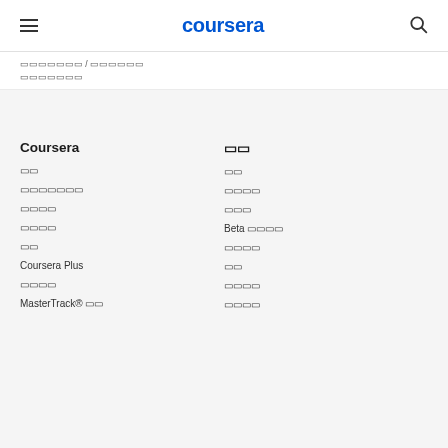coursera
[breadcrumb row 1 - tofu characters]
[breadcrumb row 2 - tofu characters]
Coursera
[tofu] [tofu]
[tofu][tofu]
[tofu][tofu]
[tofu][tofu][tofu][tofu][tofu][tofu][tofu]
[tofu][tofu][tofu][tofu]
[tofu][tofu][tofu][tofu]
[tofu][tofu]
Coursera Plus
[tofu][tofu]
[tofu][tofu][tofu][tofu]
MasterTrack® [tofu][tofu]
[tofu][tofu][tofu][tofu]
Beta [tofu][tofu][tofu][tofu]
[tofu][tofu][tofu][tofu]
[tofu][tofu]
[tofu][tofu][tofu][tofu]
[tofu][tofu][tofu][tofu]